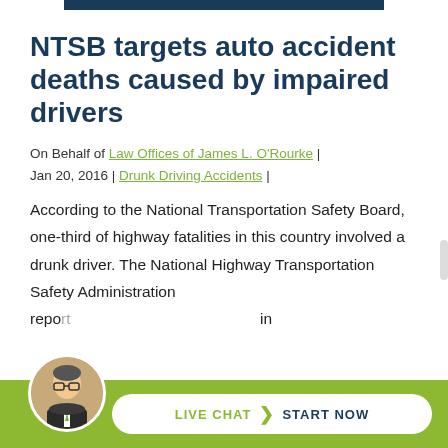NTSB targets auto accident deaths caused by impaired drivers
On Behalf of Law Offices of James L. O'Rourke | Jan 20, 2016 | Drunk Driving Accidents |
According to the National Transportation Safety Board, one-third of highway fatalities in this country involved a drunk driver. The National Highway Transportation Safety Administration reported that C... in
[Figure (screenshot): Live Chat Start Now button bar at the bottom with avatar photo of a man in glasses and suit]